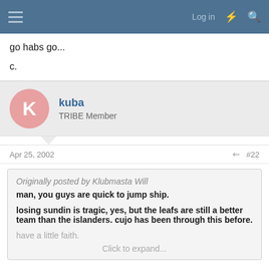Log in
go habs go...
c.
kuba
TRIBE Member
Apr 25, 2002 #22
Originally posted by Klubmasta Will
man, you guys are quick to jump ship.

losing sundin is tragic, yes, but the leafs are still a better team than the islanders. cujo has been through this before.

have a little faith.

Click to expand...